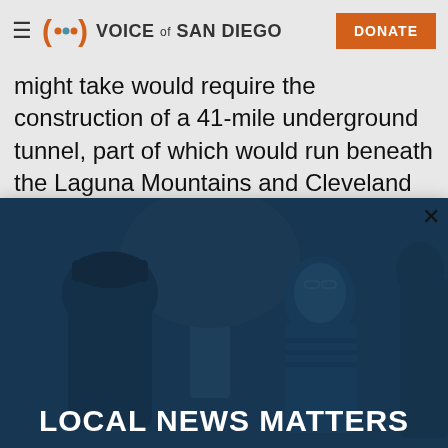Voice of San Diego | DONATE
might take would require the construction of a 41-mile underground tunnel, part of which would run beneath the Laguna Mountains and Cleveland National Forest. Another route
[Figure (photo): A modal popup overlay showing two people in conversation outdoors near a tree, with a dark blue tint overlay and the text LOCAL NEWS MATTERS in bold white at the bottom. An X close button is in the upper right corner.]